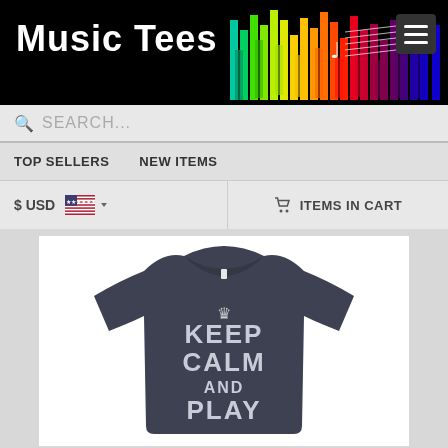[Figure (screenshot): Music Tees website header with colorful equalizer bars, logo text 'Music Tees', musical note and staff decoration, and hamburger menu button]
SEARCH...
TOP SELLERS  NEW ITEMS
$ USD   ITEMS IN CART
[Figure (photo): Dark navy t-shirt with 'KEEP CALM AND PLAY' text and crown graphic printed in white]